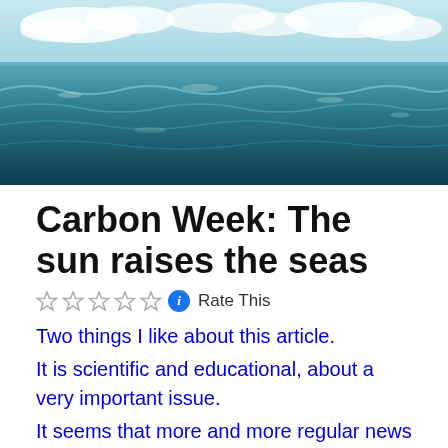[Figure (photo): Ocean scene with blue-green waves under a cloudy sky]
Carbon Week: The sun raises the seas
☆☆☆☆☆ ⓘ Rate This
Two things I like about this article. It is scientific and educational, about a very important issue. It seems that more and more regular news publishers are openly coming on board with the critics of global warming